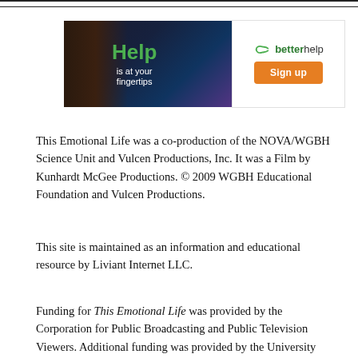[Figure (other): BetterHelp advertisement banner with woman and text 'Help is at your fingertips' alongside BetterHelp logo and Sign up button]
This Emotional Life was a co-production of the NOVA/WGBH Science Unit and Vulcen Productions, Inc. It was a Film by Kunhardt McGee Productions. © 2009 WGBH Educational Foundation and Vulcen Productions.
This site is maintained as an information and educational resource by Liviant Internet LLC.
Funding for This Emotional Life was provided by the Corporation for Public Broadcasting and Public Television Viewers. Additional funding was provided by the University